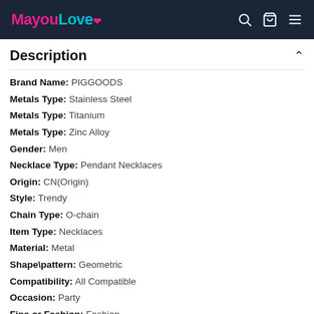MayouLove
Description
Brand Name: PIGGOODS
Metals Type: Stainless Steel
Metals Type: Titanium
Metals Type: Zinc Alloy
Gender: Men
Necklace Type: Pendant Necklaces
Origin: CN(Origin)
Style: Trendy
Chain Type: O-chain
Item Type: Necklaces
Material: Metal
Shape\pattern: Geometric
Compatibility: All Compatible
Occasion: Party
Fine or Fashion: Fashion
Size Guide